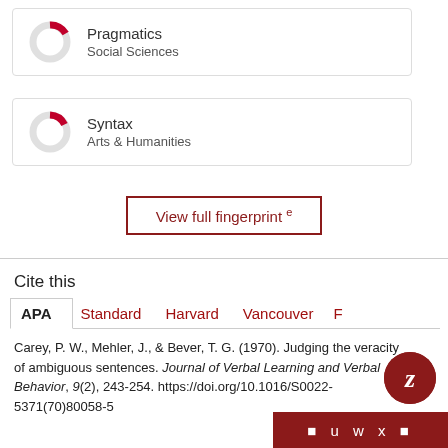[Figure (donut-chart): Donut chart with red segment for Pragmatics, Social Sciences]
Pragmatics
Social Sciences
[Figure (donut-chart): Donut chart with red segment for Syntax, Arts & Humanities]
Syntax
Arts & Humanities
View full fingerprint ↗
Cite this
APA | Standard | Harvard | Vancouver | F
Carey, P. W., Mehler, J., & Bever, T. G. (1970). Judging the veracity of ambiguous sentences. Journal of Verbal Learning and Verbal Behavior, 9(2), 243-254. https://doi.org/10.1016/S0022-5371(70)80058-5